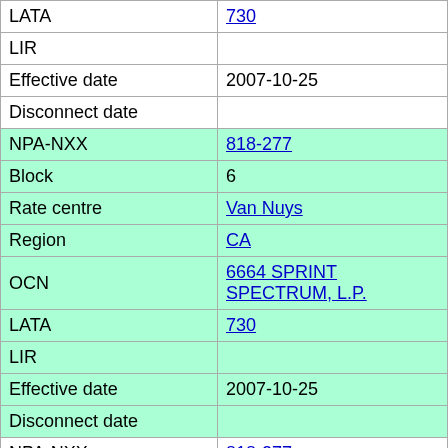| Field | Value |
| --- | --- |
| LATA | 730 |
| LIR |  |
| Effective date | 2007-10-25 |
| Disconnect date |  |
| NPA-NXX | 818-277 |
| Block | 6 |
| Rate centre | Van Nuys |
| Region | CA |
| OCN | 6664 SPRINT SPECTRUM, L.P. |
| LATA | 730 |
| LIR |  |
| Effective date | 2007-10-25 |
| Disconnect date |  |
| NPA-NXX | 818-277 |
| Block | 7 |
| Rate centre | Van Nuys |
| Region | CA |
| OCN | 6664 SPRINT SPECTRUM, L.P. |
| LATA | 730 |
| LIR |  |
| Effective date | 2007-10-25 |